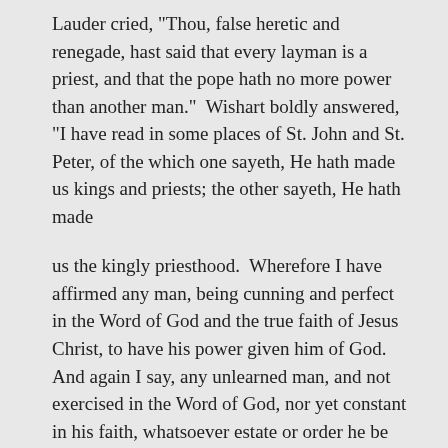Lauder cried, "Thou, false heretic and renegade, hast said that every layman is a priest, and that the pope hath no more power than another man."  Wishart boldly answered, "I have read in some places of St. John and St. Peter, of the which one sayeth, He hath made us kings and priests; the other sayeth, He hath made
us the kingly priesthood.  Wherefore I have affirmed any man, being cunning and perfect in the Word of God and the true faith of Jesus Christ, to have his power given him of God.  And again I say, any unlearned man, and not exercised in the Word of God, nor yet constant in his faith, whatsoever estate or order he be of, hath no power to bind nor to loose."
These words greatly amused the assembly; the reverends and the most reverends burst out laughing, mocking Wishart, and calling him an imbecile.  The notion that a layman should have a power which the holy father had not seemed to them the very height of madness.  "Laugh ye, my lords?" said the messenger of